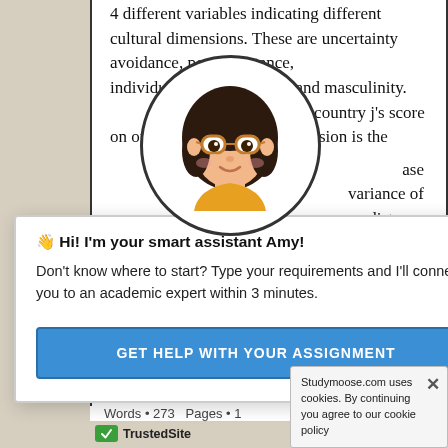4 different variables indicating different cultural dimensions. These are uncertainty avoidance, power distance, individualism/collectivism and masculinity. is the country j's score on one cultural dimension is the base variance of e distance
[Figure (illustration): Circular avatar of an animated girl with dark hair, glasses, and orange top — the 'Amy' smart assistant character]
👋 Hi! I'm your smart assistant Amy!
Don't know where to start? Type your requirements and I'll connect you to an academic expert within 3 minutes.
GET HELP WITH YOUR ASSIGNMENT
SOCIETY
19 Pelican S…
Words • 273   Pages • 1
TrustedSite
Studymoose.com uses cookies. By continuing you agree to our cookie policy